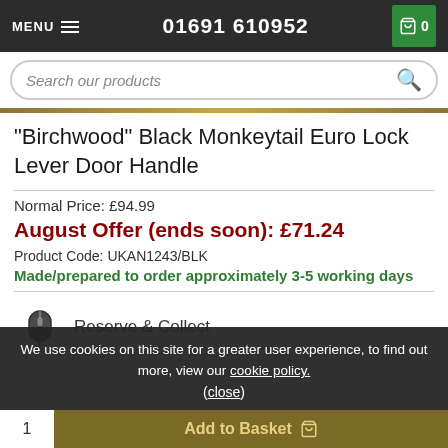MENU  01691 610952  0
Search our products
"Birchwood" Black Monkeytail Euro Lock Lever Door Handle
Normal Price: £94.99
August Offer (ends soon): £71.24
Product Code: UKAN1243/BLK
Made/prepared to order approximately 3-5 working days
Reserve & Collect
We use cookies on this site for a greater user experience, to find out more, view our cookie policy.
(close)